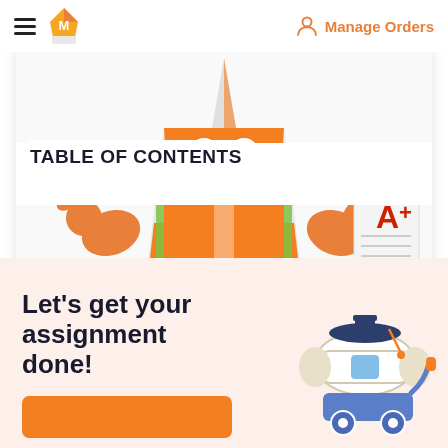[Figure (screenshot): Navigation bar with hamburger menu, pencil/M logo on left, and orange person icon with 'Manage Orders' text on right]
[Figure (illustration): Cartoon character resembling a traffic cone wearing an orange safety vest, smiling and holding an A+ graded paper. White card with drop shadow overlaid showing TABLE OF CONTENTS heading.]
TABLE OF CONTENTS
[Figure (illustration): Peach/cream background section with a diploma scroll on a graduation cap cart illustration on the right side]
Let's get your assignment done!
[Figure (other): Orange button at bottom left of peach section]